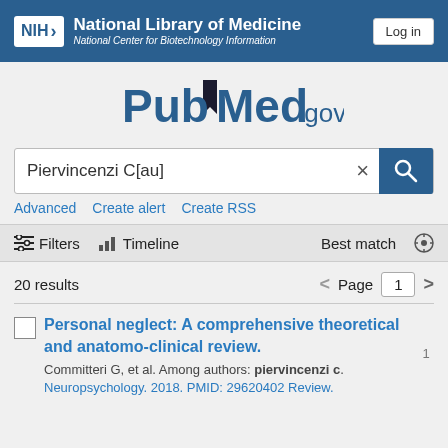NIH National Library of Medicine National Center for Biotechnology Information | Log in
[Figure (logo): PubMed.gov logo with bookmark icon]
Piervincenzi C[au]
Advanced   Create alert   Create RSS
Filters   Timeline   Best match
20 results   Page 1
Personal neglect: A comprehensive theoretical and anatomo-clinical review.
Commiteri G, et al. Among authors: piervincenzi c.
Neuropsychology. 2018. PMID: 29620402 Review.